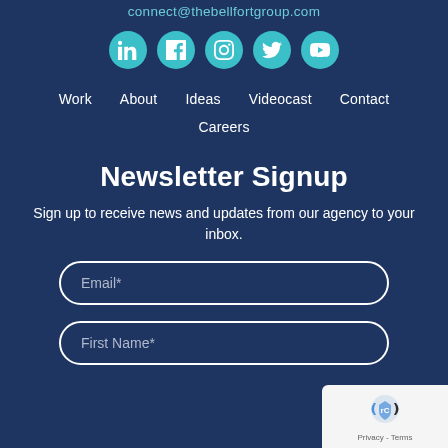connect@thebellfortgroup.com
[Figure (infographic): Row of five teal circular social media icons: LinkedIn, Facebook, Instagram, Twitter, YouTube]
Work   About   Ideas   Videocast   Contact
Careers
Newsletter Signup
Sign up to receive news and updates from our agency to your inbox.
Email*
First Name*
[Figure (logo): Google reCAPTCHA badge with Privacy - Terms text]